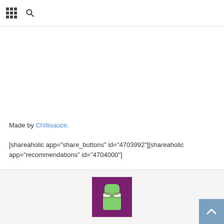Made by Chillisauce.
[shareaholic app="share_buttons" id="4703992"][shareaholic app="recommendations" id="4704000"]
[Figure (illustration): Author avatar: green cartoon character with glasses on a purple/magenta background]